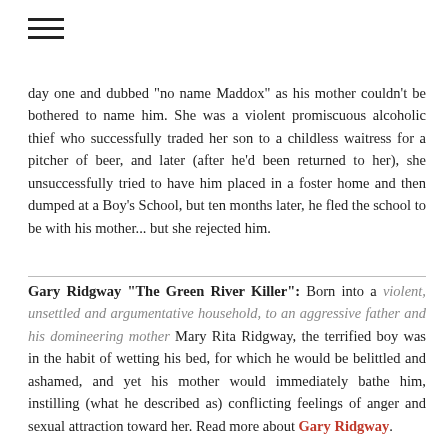[Figure (other): Hamburger menu icon (three horizontal lines)]
day one and dubbed "no name Maddox" as his mother couldn't be bothered to name him. She was a violent promiscuous alcoholic thief who successfully traded her son to a childless waitress for a pitcher of beer, and later (after he'd been returned to her), she unsuccessfully tried to have him placed in a foster home and then dumped at a Boy's School, but ten months later, he fled the school to be with his mother... but she rejected him.
Gary Ridgway "The Green River Killer": Born into a violent, unsettled and argumentative household, to an aggressive father and his domineering mother Mary Rita Ridgway, the terrified boy was in the habit of wetting his bed, for which he would be belittled and ashamed, and yet his mother would immediately bathe him, instilling (what he described as) conflicting feelings of anger and sexual attraction toward her. Read more about Gary Ridgway.